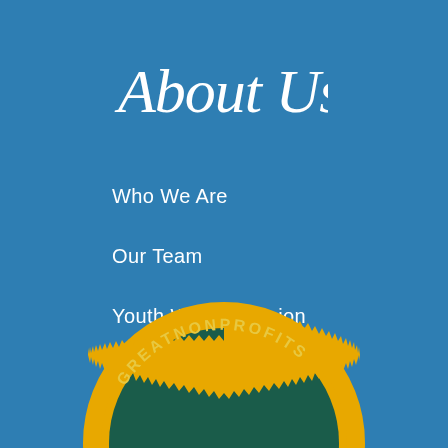About Us
Who We Are
Our Team
Youth With A Mission
[Figure (infographic): Facebook and Vimeo social media icons side by side]
[Figure (illustration): GreatNonprofits badge/seal — gold serrated circle with dark green interior showing stars, partially cropped at bottom of page]